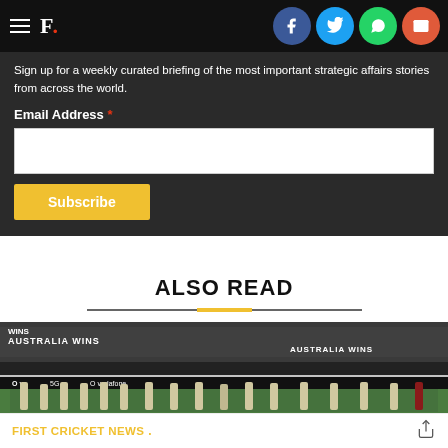F. [Firstpost logo with hamburger menu and social share icons: Facebook, Twitter, WhatsApp, Email]
Sign up for a weekly curated briefing of the most important strategic affairs stories from across the world.
Email Address *
Subscribe
ALSO READ
[Figure (photo): Cricket team walking on field with 'AUSTRALIA WINS' displayed on stadium screens, Vodafone 5G advertising boards visible]
FIRST CRICKET NEWS